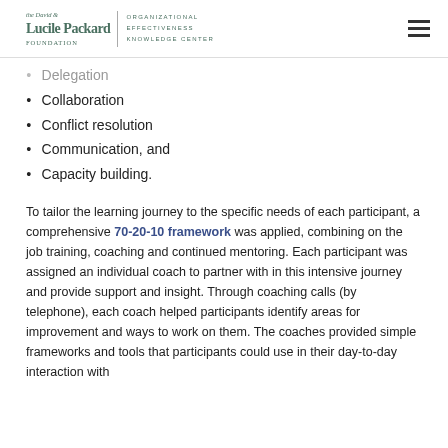the David & Lucile Packard Foundation | Organizational Effectiveness Knowledge Center
Delegation
Collaboration
Conflict resolution
Communication, and
Capacity building.
To tailor the learning journey to the specific needs of each participant, a comprehensive 70-20-10 framework was applied, combining on the job training, coaching and continued mentoring. Each participant was assigned an individual coach to partner with in this intensive journey and provide support and insight. Through coaching calls (by telephone), each coach helped participants identify areas for improvement and ways to work on them. The coaches provided simple frameworks and tools that participants could use in their day-to-day interaction with